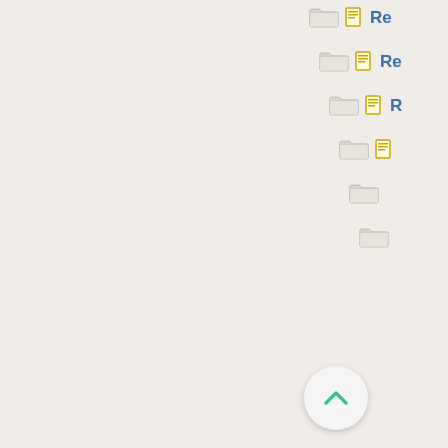Re [folder icon + doc icon + link]
Re [folder icon + doc icon + link]
R [folder icon + doc icon + link]
[folder icon + doc icon]
[folder icon]
[partial item]
[Figure (screenshot): Scroll-to-top button, circular with teal chevron pointing up]